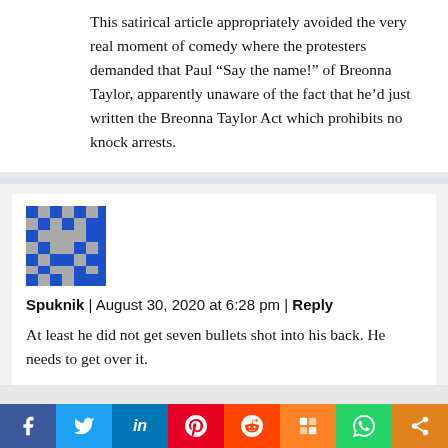This satirical article appropriately avoided the very real moment of comedy where the protesters demanded that Paul “Say the name!” of Breonna Taylor, apparently unaware of the fact that he’d just written the Breonna Taylor Act which prohibits no knock arrests.
[Figure (illustration): Pixel art avatar icon with blue and gray pattern representing user Spuknik]
Spuknik | August 30, 2020 at 6:28 pm | Reply
At least he did not get seven bullets shot into his back. He needs to get over it.
[Figure (other): Social share bar with icons for Facebook, Twitter, LinkedIn, Pinterest, Reddit, Mix, WhatsApp, and More]